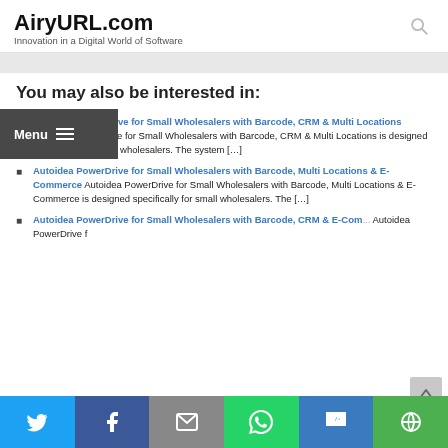AiryURL.com – Innovation in a Digital World of Software
You may also be interested in:
Autoidea PowerDrive for Small Wholesalers with Barcode, CRM & Multi Locations Autoidea PowerDrive for Small Wholesalers with Barcode, CRM & Multi Locations is designed specifically for small wholesalers. The system [...]
Autoidea PowerDrive for Small Wholesalers with Barcode, Multi Locations & E-Commerce Autoidea PowerDrive for Small Wholesalers with Barcode, Multi Locations & E-Commerce is designed specifically for small wholesalers. The [...]
Autoidea PowerDrive for Small Wholesalers with Barcode, CRM & E-Commerce Autoidea PowerDrive for...